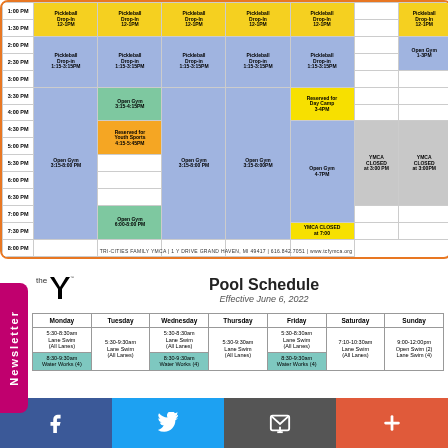| Time | Monday | Tuesday | Wednesday | Thursday | Friday | Saturday | Sunday |
| --- | --- | --- | --- | --- | --- | --- | --- |
| 1:00 PM | Pickleball Drop-In 1:00-3:00 PM | Pickleball Drop-In 12-1PM | Pickleball Drop-In 12-1PM | Pickleball Drop-In 12-1PM | Pickleball Drop-In 12-1PM |  | Pickleball Drop-In 12-1PM |
| 1:30 PM |  |  |  |  |  |  |  |
| 2:00 PM | Pickleball Drop-In 1:15-3:15PM | Pickleball Drop-In 1:15-3:15PM | Pickleball Drop-In 1:15-3:15PM | Pickleball Drop-In 1:15-3:15PM | Pickleball Drop-In 1:15-3:15PM |  | Open Gym 1-3PM |
| 2:30 PM |  |  |  |  |  |  |  |
| 3:00 PM |  |  |  |  |  |  |  |
| 3:30 PM |  | Open Gym 3:15-4:15PM |  |  | Reserved for Day Camp 3-4PM |  |  |
| 4:00 PM |  |  |  |  |  |  |  |
| 4:30 PM |  | Reserved for Youth Sports 4:15-5:45PM |  |  |  |  |  |
| 5:00 PM | Open Gym 3:15-8:00 PM |  | Open Gym 3:15-8:00 PM | Open Gym 3:15-8:00PM | Open Gym 4-7PM | YMCA CLOSED at 3:00 PM | YMCA CLOSED at 3:00PM |
| 5:30 PM |  |  |  |  |  |  |  |
| 6:00 PM |  |  |  |  |  |  |  |
| 6:30 PM |  |  |  |  |  |  |  |
| 7:00 PM |  | Open Gym 6:00-8:00 PM |  |  |  |  |  |
| 7:30 PM |  |  |  |  | YMCA CLOSED at 7:00 |  |  |
| 8:00 PM |  |  |  |  |  |  |  |
TRI-CITIES FAMILY YMCA | 1 Y DRIVE GRAND HAVEN, MI 49417 | 616.842.7051 | www.tcfymca.org
Pool Schedule
Effective June 6, 2022
| Monday | Tuesday | Wednesday | Thursday | Friday | Saturday | Sunday |
| --- | --- | --- | --- | --- | --- | --- |
| 5:30-8:30am Lane Swim (All Lanes) | 5:30-9:30am Lane Swim (All Lanes) | 5:30-8:30am Lane Swim (All Lanes) | 5:30-9:30am Lane Swim (All Lanes) | 5:30-8:30am Lane Swim (All Lanes) | 7:10-10:30am Lane Swim (All Lanes) | 9:00-12:00pm Open Swim (2) Lane Swim (4) |
| 8:30-9:30am Water Works (4) |  | 8:30-9:30am Water Works (4) |  | 8:30-9:30am Water Works (4) |  |  |